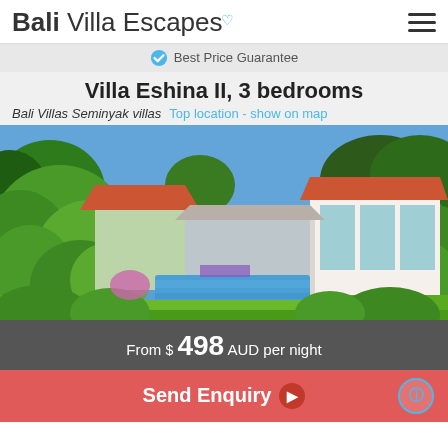Bali Villa Escapes
Best Price Guarantee
Villa Eshina II, 3 bedrooms
Bali Villas Seminyak villas  Top location - show on map
[Figure (photo): Outdoor pool and garden area of Villa Eshina II with tropical plants, orange-tiled roof buildings, and lush greenery surrounding a rectangular swimming pool]
From $ 498 AUD per night
Send Enquiry